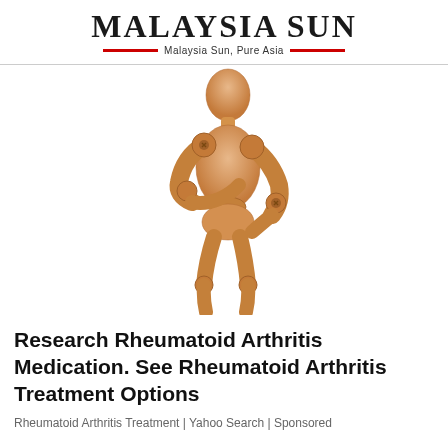Malaysia Sun — Malaysia Sun, Pure Asia
[Figure (photo): Wooden articulated mannequin/artist figure posed with arms crossed over its torso and one hand on its hip, suggesting joint or back pain, on a white background.]
Research Rheumatoid Arthritis Medication. See Rheumatoid Arthritis Treatment Options
Rheumatoid Arthritis Treatment | Yahoo Search | Sponsored